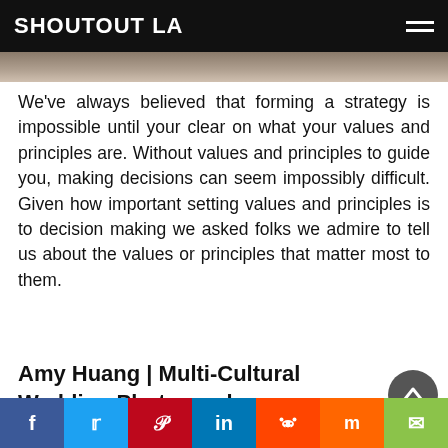SHOUTOUT LA
[Figure (photo): Partial photo visible at top of page, blurred background image]
We've always believed that forming a strategy is impossible until your clear on what your values and principles are. Without values and principles to guide you, making decisions can seem impossibly difficult. Given how important setting values and principles is to decision making we asked folks we admire to tell us about the values or principles that matter most to them.
Amy Huang | Multi-Cultural Wedding Photographer
[Figure (photo): Partial photo visible at bottom of page]
Social share bar: Facebook, Twitter, Pinterest, LinkedIn, Reddit, Mix, Email